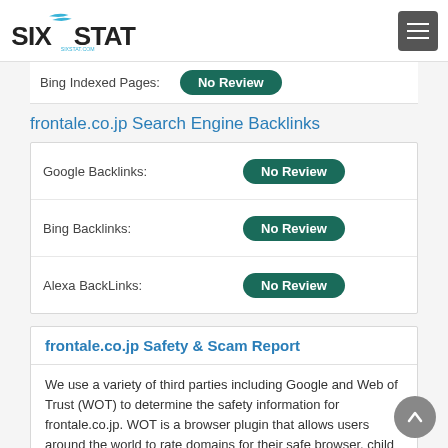SIXSTAT logo and navigation
Bing Indexed Pages: No Review
frontale.co.jp Search Engine Backlinks
|  |  |
| --- | --- |
| Google Backlinks: | No Review |
| Bing Backlinks: | No Review |
| Alexa BackLinks: | No Review |
frontale.co.jp Safety & Scam Report
We use a variety of third parties including Google and Web of Trust (WOT) to determine the safety information for frontale.co.jp. WOT is a browser plugin that allows users around the world to rate domains for their safe browser, child safety and malware exploits if any. Google uses a proprietary method to determine the safeness of frontale.co.jp. If you are concerned about the safety of a website, this safety report will be a good indicator of the